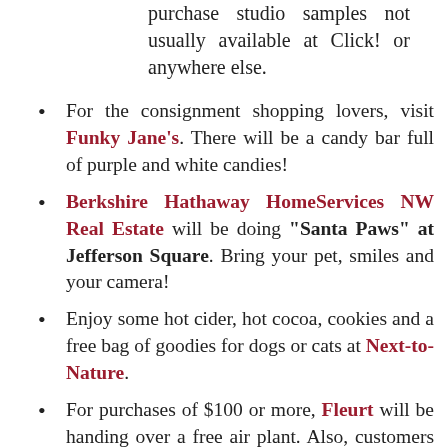purchase studio samples not usually available at Click! or anywhere else.
For the consignment shopping lovers, visit Funky Jane's. There will be a candy bar full of purple and white candies!
Berkshire Hathaway HomeServices NW Real Estate will be doing "Santa Paws" at Jefferson Square. Bring your pet, smiles and your camera!
Enjoy some hot cider, hot cocoa, cookies and a free bag of goodies for dogs or cats at Next-to-Nature.
For purchases of $100 or more, Fleurt will be handing over a free air plant. Also, customers can enter the raffle to win a Fleurt gift bag filled with goodies.